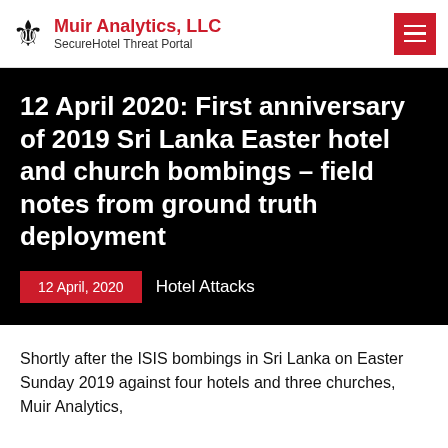Muir Analytics, LLC — SecureHotel Threat Portal
12 April 2020: First anniversary of 2019 Sri Lanka Easter hotel and church bombings – field notes from ground truth deployment
12 April, 2020   Hotel Attacks
Shortly after the ISIS bombings in Sri Lanka on Easter Sunday 2019 against four hotels and three churches, Muir Analytics,